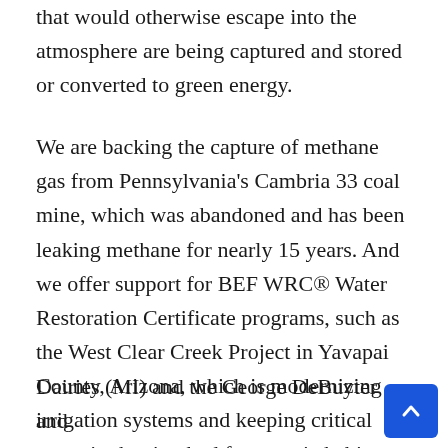that would otherwise escape into the atmosphere are being captured and stored or converted to green energy.
We are backing the capture of methane gas from Pennsylvania's Cambria 33 coal mine, which was abandoned and has been leaking methane for nearly 15 years. And we offer support for BEF WRC® Water Restoration Certificate programs, such as the West Clear Creek Project in Yavapai County, Arizona, which is modernizing irrigation systems and keeping critical water in the riverbed for aquatic habitat protection.
Terrapass is also supporting farm power through such projects as the Scenic View Dairies (MI) and the George DeBuyter and